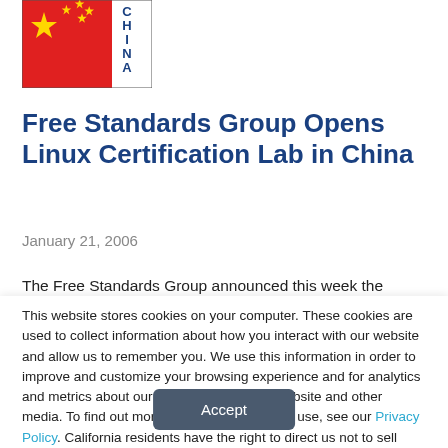[Figure (logo): Chinese flag (red with yellow stars) alongside vertical text 'CHINA' in blue on white background]
Free Standards Group Opens Linux Certification Lab in China
January 21, 2006
The Free Standards Group announced this week the opening of a Linux certification lab in China. The lab will
This website stores cookies on your computer. These cookies are used to collect information about how you interact with our website and allow us to remember you. We use this information in order to improve and customize your browsing experience and for analytics and metrics about our visitors both on this website and other media. To find out more about the cookies we use, see our Privacy Policy. California residents have the right to direct us not to sell their personal information to third parties by filing an Opt-Out Request: Do Not Sell My Personal Info.